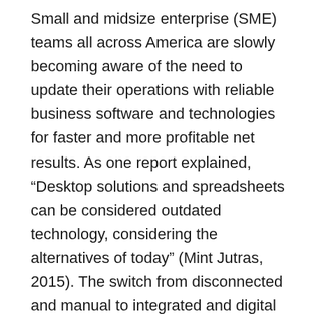Small and midsize enterprise (SME) teams all across America are slowly becoming aware of the need to update their operations with reliable business software and technologies for faster and more profitable net results. As one report explained, “Desktop solutions and spreadsheets can be considered outdated technology, considering the alternatives of today” (Mint Jutras, 2015). The switch from disconnected and manual to integrated and digital operations is the more promising future for SME’s. Leaning on older,